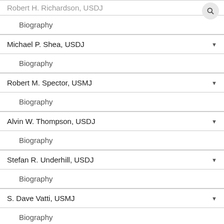[partial] Robert H. Richardson, USDJ — Biography
Michael P. Shea, USDJ — Biography
Robert M. Spector, USMJ — Biography
Alvin W. Thompson, USDJ — Biography
Stefan R. Underhill, USDJ — Biography
S. Dave Vatti, USMJ — Biography